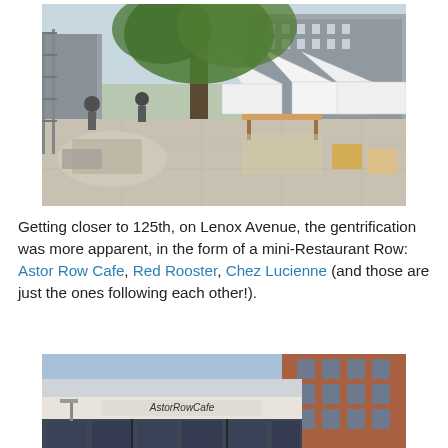[Figure (photo): Outdoor flea market or street fair scene on a sidewalk with vendor tents, tables with goods, and a large tree in the foreground. Buildings visible in background.]
Getting closer to 125th, on Lenox Avenue, the gentrification was more apparent, in the form of a mini-Restaurant Row: Astor Row Cafe, Red Rooster, Chez Lucienne (and those are just the ones following each other!).
[Figure (photo): Street-level photo of the Astor Row Cafe building facade, showing signage and brick building behind it.]